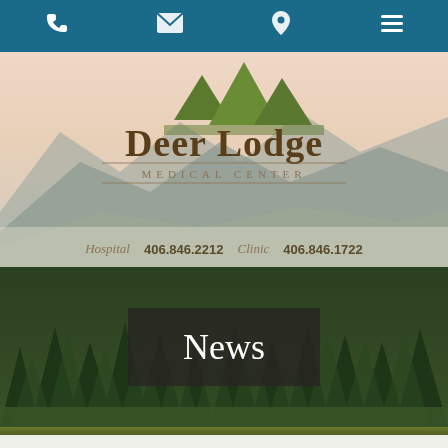Navigation bar with phone, mail, location, and menu icons
[Figure (logo): Deer Lodge Medical Center logo with mountain peaks in green above stylized text, on a scenic mountain background with soft pinkish sky and forested hills. Contact info: Hospital 406.846.2212  Clinic 406.846.1722]
[Figure (photo): Forested mountain scene with evergreen trees, dense green canopy, with a dark semi-transparent banner overlay showing the word 'News' in white serif font]
News